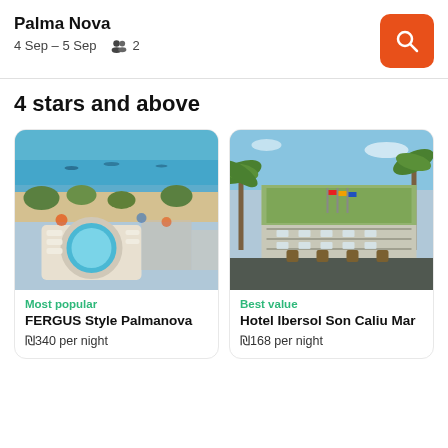Palma Nova
4 Sep – 5 Sep  2
4 stars and above
[Figure (photo): Aerial view of a beach resort with circular pool, white sun loungers, and turquoise sea in background (FERGUS Style Palmanova)]
Most popular
FERGUS Style Palmanova
₪340 per night
[Figure (photo): Hotel entrance with palm trees and green ivy-covered building facade (Hotel Ibersol Son Caliu Mar)]
Best value
Hotel Ibersol Son Caliu Mar
₪168 per night